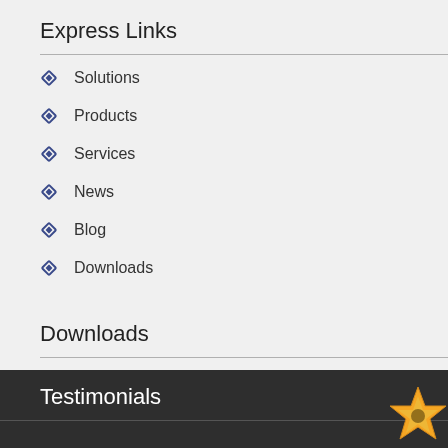Express Links
Solutions
Products
Services
News
Blog
Downloads
Downloads
The CitraTest APM Brochure
The CitraTest APM® Diagram
Testimonials